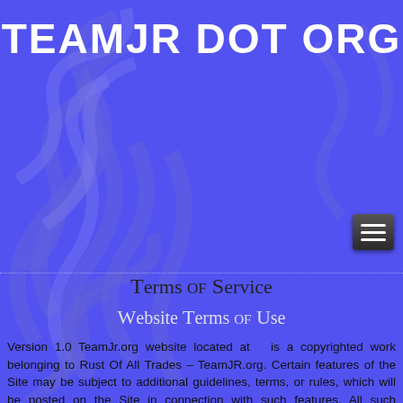TEAMJR DOT ORG
Terms of Service
Website Terms of Use
Version 1.0 TeamJr.org website located at  is a copyrighted work belonging to Rust Of All Trades – TeamJR.org. Certain features of the Site may be subject to additional guidelines, terms, or rules, which will be posted on the Site in connection with such features. All such additional terms, guidelines, and rules are incorporated by reference into these Terms. These Terms of Use described the legally binding terms and conditions that oversee your use of the Site. BY LOGGING INTO THE SITE, YOU ARE BEING COMPLIANT THAT THESE TERMS and you represent that you have the authority and capacity to enter into these Terms. YOU SHOULD BE AT LEAST 18 YEARS OF AGE...